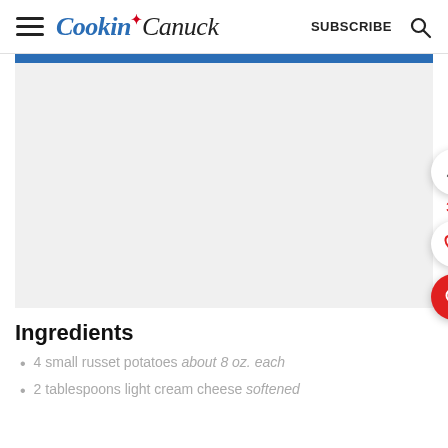Cookin' Canuck — SUBSCRIBE
[Figure (screenshot): Gray placeholder image area with blue top bar]
Ingredients
4 small russet potatoes about 8 oz. each
2 tablespoons light cream cheese softened